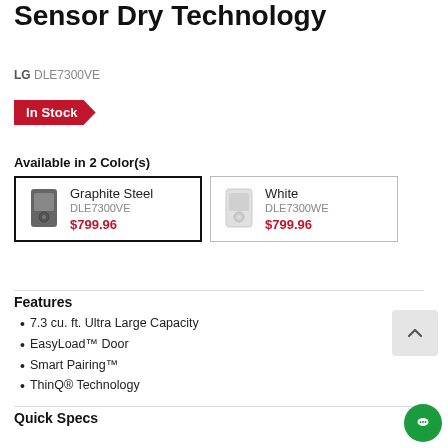Sensor Dry Technology
LG DLE7300VE
In Stock
Available in 2 Color(s)
| Color | Model | Price |
| --- | --- | --- |
| Graphite Steel | DLE7300VE | $799.96 |
| White | DLE7300WE | $799.96 |
Features
7.3 cu. ft. Ultra Large Capacity
EasyLoad™ Door
Smart Pairing™
ThinQ® Technology
Quick Specs